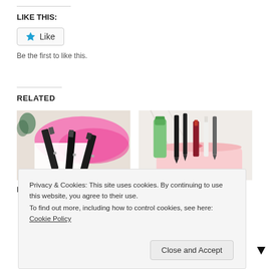LIKE THIS:
[Figure (other): Like button with star icon]
Be the first to like this.
RELATED
[Figure (photo): Dior Rouge Dior Liquid Matte lipsticks on pink fluffy surface]
Dior Rouge Dior Liquid Matte
[Figure (photo): Makeup products including a green tube, pencils, lipsticks and a pink cosmetics bag]
Loving Right Now
Privacy & Cookies: This site uses cookies. By continuing to use this website, you agree to their use.
To find out more, including how to control cookies, see here: Cookie Policy
Close and Accept